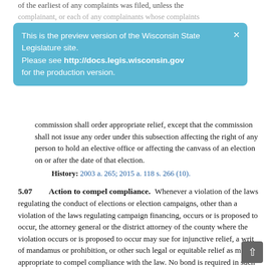of the earliest of any complaints was filed, unless the complainant, or each of any complainants whose complaints
This is the preview version of the Wisconsin State Legislature site. Please see http://docs.legis.wisconsin.gov for the production version.
commission shall order appropriate relief, except that the commission shall not issue any order under this subsection affecting the right of any person to hold an elective office or affecting the canvass of an election on or after the date of that election.
History: 2003 a. 265; 2015 a. 118 s. 266 (10).
5.07 Action to compel compliance.
Whenever a violation of the laws regulating the conduct of elections or election campaigns, other than a violation of the laws regulating campaign financing, occurs or is proposed to occur, the attorney general or the district attorney of the county where the violation occurs or is proposed to occur may sue for injunctive relief, a writ of mandamus or prohibition, or other such legal or equitable relief as may be appropriate to compel compliance with the law. No bond is required in such actions.
History: 1973 c. 334; 1983 a. 484 s. 136m; Stats. 1983 s. 5.07; 1985 a. 304; 2015 a. 118.